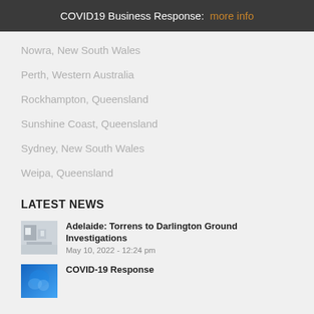COVID19 Business Response: more info
Nowra, New South Wales
Perth, Western Australia
Rockhampton, Queensland
Sunshine Coast, Queensland
Sydney, New South Wales
Weipa, Queensland
LATEST NEWS
[Figure (photo): Thumbnail image of construction or building interior for Adelaide Torrens to Darlington article]
Adelaide: Torrens to Darlington Ground Investigations
May 10, 2022 - 12:24 pm
[Figure (photo): Thumbnail blue image for COVID-19 Response article]
COVID-19 Response